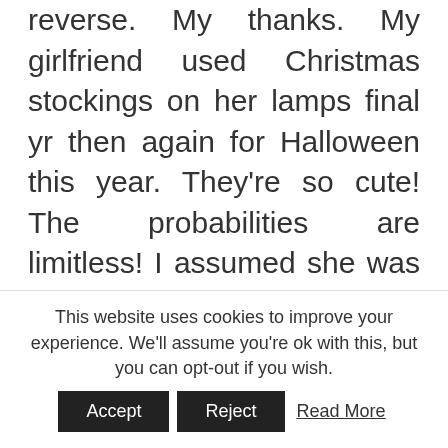reverse. My thanks. My girlfriend used Christmas stockings on her lamps final yr then again for Halloween this year. They're so cute! The probabilities are limitless! I assumed she was genius too! Drum shades are very practical as a result of they not only diffuse light outward by means of the shade cloth, they also mirror light downward and upward where it might probably diffuse of the ceiling.

The Emperors New Groove has a tone closer to an prolonged episode of Freakazoid than your
This website uses cookies to improve your experience. We'll assume you're ok with this, but you can opt-out if you wish.